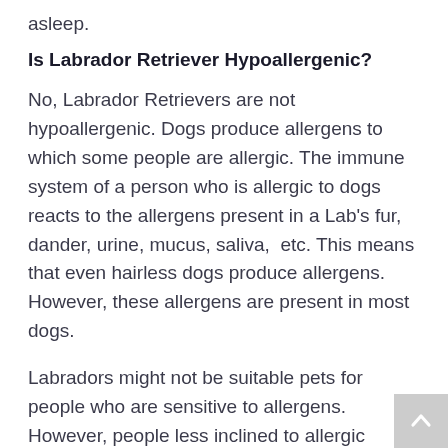asleep.
Is Labrador Retriever Hypoallergenic?
No, Labrador Retrievers are not hypoallergenic. Dogs produce allergens to which some people are allergic. The immune system of a person who is allergic to dogs reacts to the allergens present in a Lab's fur, dander, urine, mucus, saliva,  etc. This means that even hairless dogs produce allergens. However, these allergens are present in most dogs.
Labradors might not be suitable pets for people who are sensitive to allergens. However, people less inclined to allergic reactions can typically manage the allergens produced by Labradors.